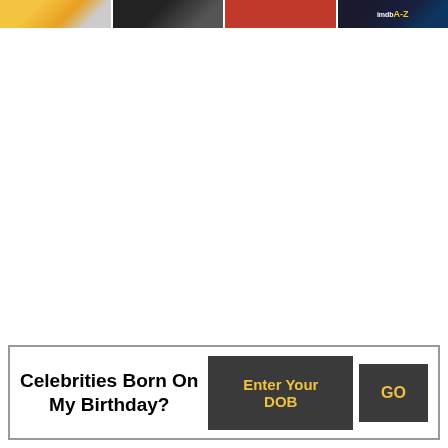[Figure (screenshot): Row of four thumbnail images at the top of the page: first has yellow/warm tones with a person, second is dark/black background with a person, third has a red background with a person, fourth has a dark background with a white A-Z logo label.]
Celebrities Born On My Birthday?
Enter Your DOB
GO